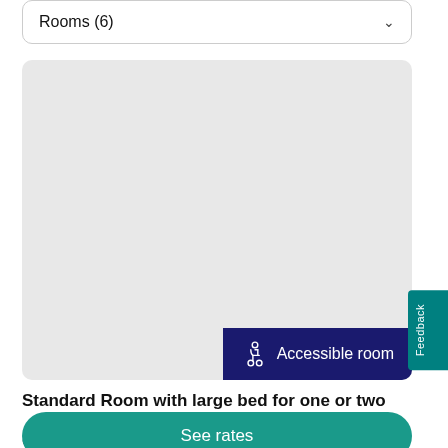Rooms (6)
[Figure (photo): Grey placeholder image area for hotel room photo, with a dark navy blue 'Accessible room' badge (with wheelchair icon) overlaid in the bottom-right corner.]
Feedback
Standard Room with large bed for one or two
See rates
x2  From 18 m² / 193 sq ft